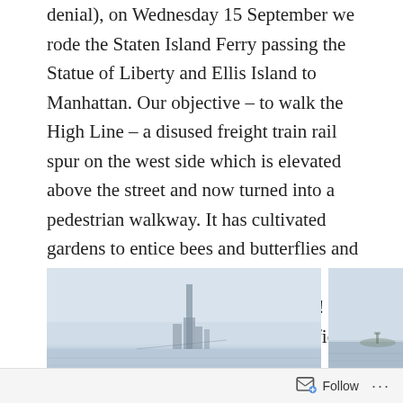denial), on Wednesday 15 September we rode the Staten Island Ferry passing the Statue of Liberty and Ellis Island to Manhattan. Our objective – to walk the High Line – a disused freight train rail spur on the west side which is elevated above the street and now turned into a pedestrian walkway. It has cultivated gardens to entice bees and butterflies and wends it way very closely between buildings. No social distancing here! Can look straight into apartments and offices. We had lunch on the High Line with glimpses of the Hudson River.
[Figure (photo): Hazy waterfront skyline view, likely Manhattan or New York Harbor with a tall tower visible through haze]
[Figure (photo): Hazy harbor view with city skyline and what appears to be the Statue of Liberty island visible in the water]
Follow ···